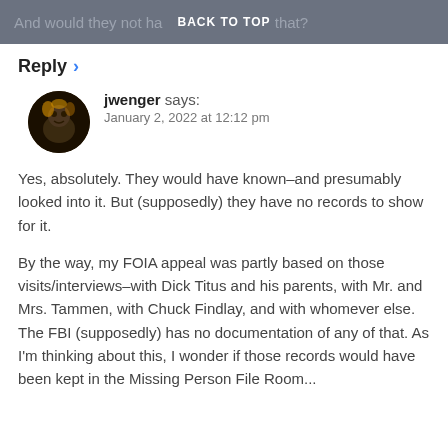And would they not ha… BACK TO TOP …o that?
Reply >
jwenger says:
January 2, 2022 at 12:12 pm
Yes, absolutely. They would have known–and presumably looked into it. But (supposedly) they have no records to show for it.
By the way, my FOIA appeal was partly based on those visits/interviews–with Dick Titus and his parents, with Mr. and Mrs. Tammen, with Chuck Findlay, and with whomever else. The FBI (supposedly) has no documentation of any of that. As I'm thinking about this, I wonder if those records would have been kept in the Missing Person File Room...